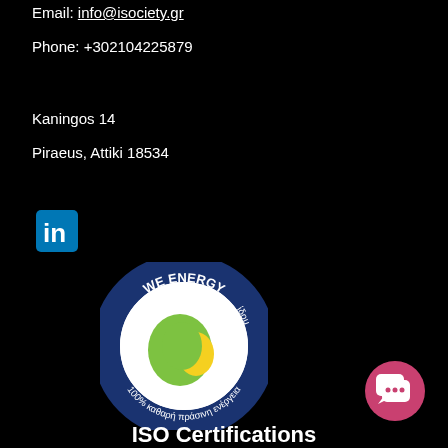Email: info@isociety.gr
Phone: +302104225879
Kaningos 14
Piraeus, Attiki 18534
[Figure (logo): LinkedIn logo icon — white 'in' on dark blue square background]
[Figure (logo): We Energy circular badge — dark blue ring with text 'WE ENERGY' at top and '100% καθαρή πράσινη ενέργεια' around the ring, green and yellow circular center graphic, white background]
[Figure (logo): Pink/crimson circular chat button with speech bubble icon]
ISO Certifications